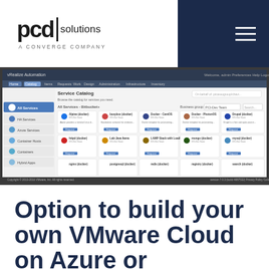[Figure (logo): pcd solutions - A CONVERGE COMPANY logo, black text on white background with vertical pipe separator]
[Figure (screenshot): VMware vRealize Automation Service Catalog interface showing various Docker and virtual machine service offerings organized in a grid layout]
Option to build your own VMware Cloud on Azure or